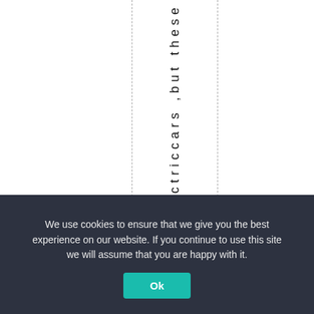ctriccars ,but these
We use cookies to ensure that we give you the best experience on our website. If you continue to use this site we will assume that you are happy with it.
Ok